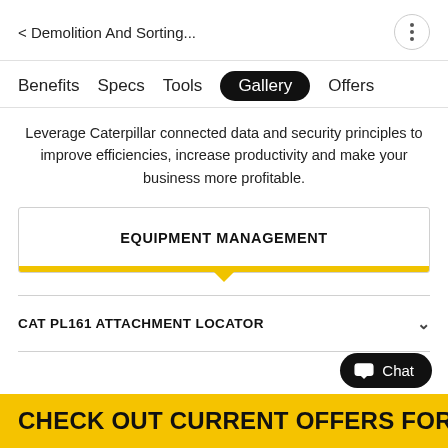< Demolition And Sorting...
Benefits  Specs  Tools  Gallery  Offers
Leverage Caterpillar connected data and security principles to improve efficiencies, increase productivity and make your business more profitable.
EQUIPMENT MANAGEMENT
CAT PL161 ATTACHMENT LOCATOR
CHECK OUT CURRENT OFFERS FOR...